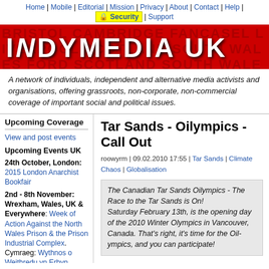Home | Mobile | Editorial | Mission | Privacy | About | Contact | Help | Security | Support
[Figure (logo): Indymedia UK logo — white bold text on red background with location words repeated in dark red]
A network of individuals, independent and alternative media activists and organisations, offering grassroots, non-corporate, non-commercial coverage of important social and political issues.
Upcoming Coverage
View and post events
Upcoming Events UK
24th October, London: 2015 London Anarchist Bookfair
2nd - 8th November: Wrexham, Wales, UK & Everywhere: Week of Action Against the North Wales Prison & the Prison Industrial Complex. Cymraeg: Wythnos o Weithredu yn Erbyn Carchar Gogledd
Tar Sands - Oilympics - Call Out
roowyrm | 09.02.2010 17:55 | Tar Sands | Climate Chaos | Globalisation
The Canadian Tar Sands Oilympics - The Race to the Tar Sands is On! Saturday February 13th, is the opening day of the 2010 Winter Olympics in Vancouver, Canada. That's right, it's time for the Oilympics, and you can participate!